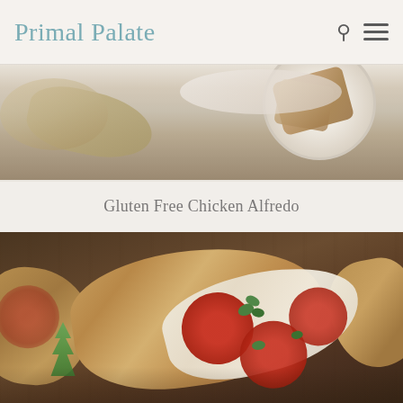Primal Palate
[Figure (photo): Top portion of a food photograph showing a dish of Gluten Free Chicken Alfredo in a white bowl]
Gluten Free Chicken Alfredo
[Figure (photo): Close-up food photograph of pizza potato skins topped with pepperoni slices, melted mozzarella cheese, and fresh green herbs, on a wooden surface]